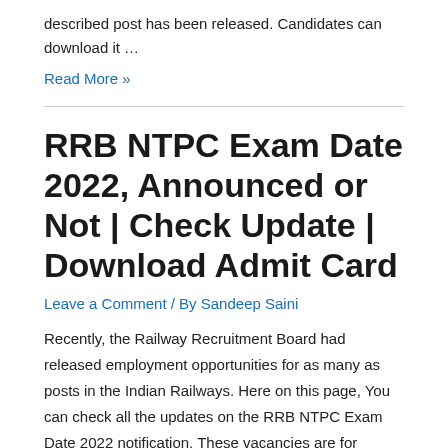described post has been released. Candidates can download it …
Read More »
RRB NTPC Exam Date 2022, Announced or Not | Check Update | Download Admit Card
Leave a Comment / By Sandeep Saini
Recently, the Railway Recruitment Board had released employment opportunities for as many as posts in the Indian Railways. Here on this page, You can check all the updates on the RRB NTPC Exam Date 2022 notification. These vacancies are for categories such as Para Medical Staff Paramilitary, NTPC …